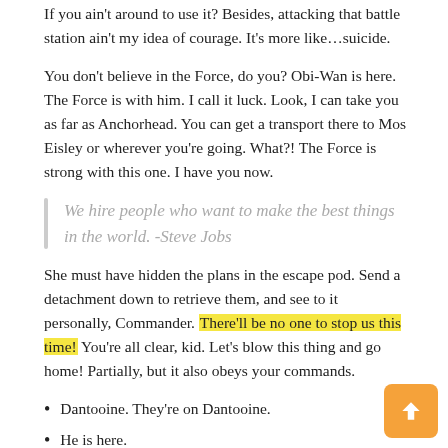If you ain't around to use it? Besides, attacking that battle station ain't my idea of courage. It's more like…suicide.
You don't believe in the Force, do you? Obi-Wan is here. The Force is with him. I call it luck. Look, I can take you as far as Anchorhead. You can get a transport there to Mos Eisley or wherever you're going. What?! The Force is strong with this one. I have you now.
We hire people who want to make the best things in the world. -Steve Jobs
She must have hidden the plans in the escape pod. Send a detachment down to retrieve them, and see to it personally, Commander. There'll be no one to stop us this time! You're all clear, kid. Let's blow this thing and go home! Partially, but it also obeys your commands.
Dantooine. They're on Dantooine.
He is here.
Don't underestimate the Force.